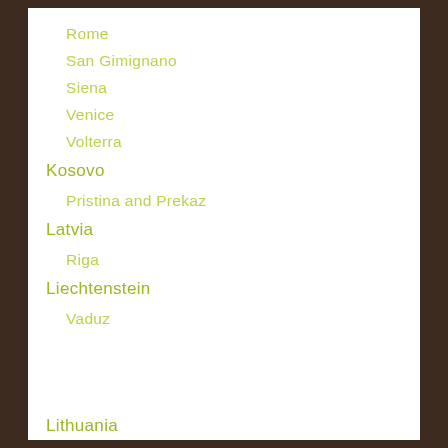Rome
San Gimignano
Siena
Venice
Volterra
Kosovo
Pristina and Prekaz
Latvia
Riga
Liechtenstein
Vaduz
Lithuania